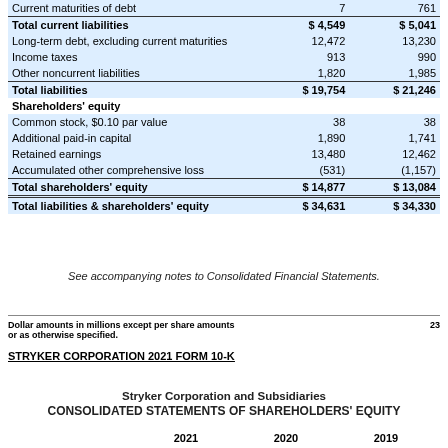|  |  |  |
| --- | --- | --- |
| Current maturities of debt | 7 | 761 |
| Total current liabilities | $ 4,549 | $ 5,041 |
| Long-term debt, excluding current maturities | 12,472 | 13,230 |
| Income taxes | 913 | 990 |
| Other noncurrent liabilities | 1,820 | 1,985 |
| Total liabilities | $ 19,754 | $ 21,246 |
| Shareholders' equity |  |  |
| Common stock, $0.10 par value | 38 | 38 |
| Additional paid-in capital | 1,890 | 1,741 |
| Retained earnings | 13,480 | 12,462 |
| Accumulated other comprehensive loss | (531) | (1,157) |
| Total shareholders' equity | $ 14,877 | $ 13,084 |
| Total liabilities & shareholders' equity | $ 34,631 | $ 34,330 |
See accompanying notes to Consolidated Financial Statements.
Dollar amounts in millions except per share amounts or as otherwise specified.
23
STRYKER CORPORATION 2021 FORM 10-K
Stryker Corporation and Subsidiaries
CONSOLIDATED STATEMENTS OF SHAREHOLDERS' EQUITY
2021   2020   2019